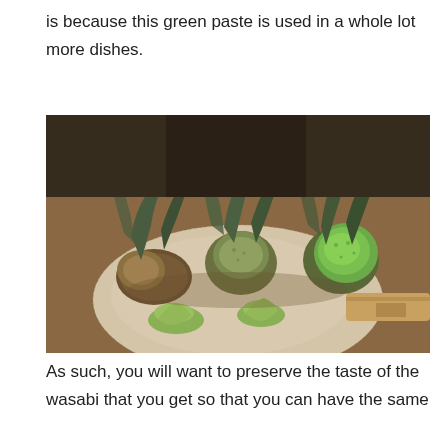is because this green paste is used in a whole lot more dishes.
[Figure (photo): Three whole wasabi rhizomes standing upright on a round grater board, showing cross-sections of the cut ends with bright green flesh. Small mounds of freshly grated wasabi paste are visible on the grater surface. A wooden-handled grater is partially visible on the right. The setting appears to be a wooden table surface.]
As such, you will want to preserve the taste of the wasabi that you get so that you can have the same